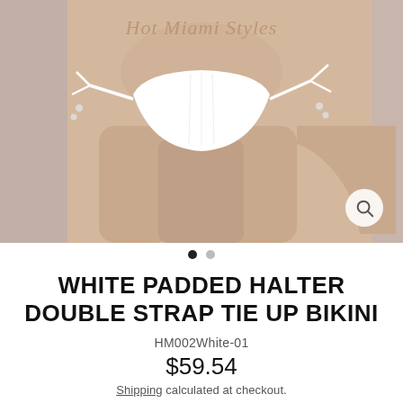[Figure (photo): Product photo of a model wearing a white tie-up bikini bottom with side ties, watermark 'Hot Miami Styles' visible, with a zoom/search icon in bottom right corner]
WHITE PADDED HALTER DOUBLE STRAP TIE UP BIKINI
HM002White-01
$59.54
Shipping calculated at checkout.